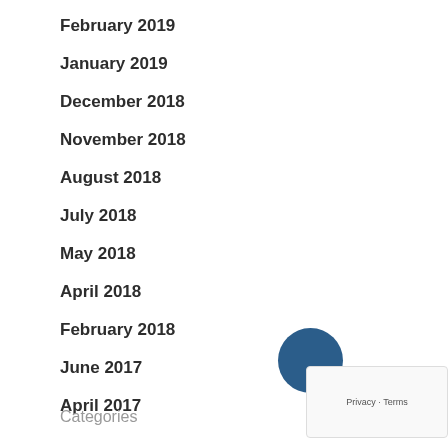February 2019
January 2019
December 2018
November 2018
August 2018
July 2018
May 2018
April 2018
February 2018
June 2017
April 2017
Categories